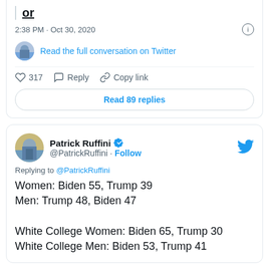[Figure (screenshot): Partial Twitter/X tweet card showing timestamp 2:38 PM · Oct 30, 2020, a 'Read the full conversation on Twitter' link, action bar with 317 likes, Reply, Copy link, and a 'Read 89 replies' button.]
[Figure (screenshot): Twitter/X tweet card by Patrick Ruffini (@PatrickRuffini) with verified badge and Follow link. Replying to @PatrickRuffini. Tweet text: 'Women: Biden 55, Trump 39
Men: Trump 48, Biden 47

White College Women: Biden 65, Trump 30
White College Men: Biden 53, Trump 41']